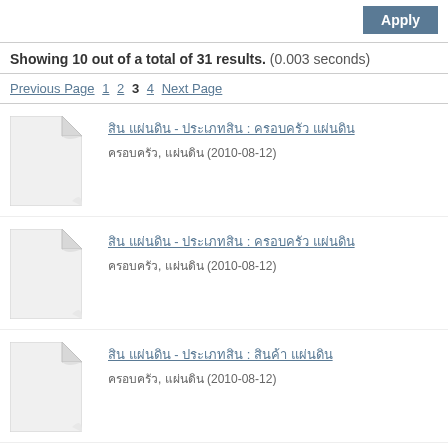Apply (button)
Showing 10 out of a total of 31 results. (0.003 seconds)
Previous Page 1 2 3 4 Next Page
[document icon] [Thai text title - link] [Thai text metadata] (2010-08-12)
[document icon] [Thai text title - link] [Thai text metadata] (2010-08-12)
[document icon] [Thai text title - link] [Thai text metadata] (2010-08-12)